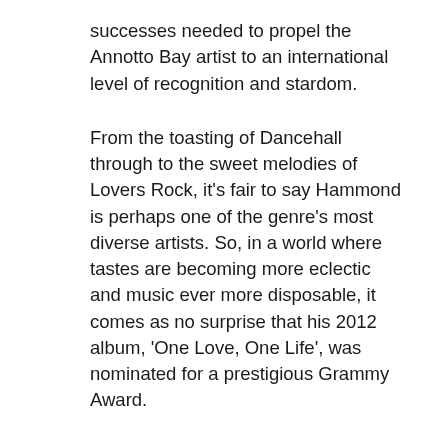successes needed to propel the Annotto Bay artist to an international level of recognition and stardom.
From the toasting of Dancehall through to the sweet melodies of Lovers Rock, it's fair to say Hammond is perhaps one of the genre's most diverse artists. So, in a world where tastes are becoming more eclectic and music ever more disposable, it comes as no surprise that his 2012 album, 'One Love, One Life', was nominated for a prestigious Grammy Award.
What's more, 2013 saw him awarded the Order of Jamaica and, whilst a five track EP may not be comparable to